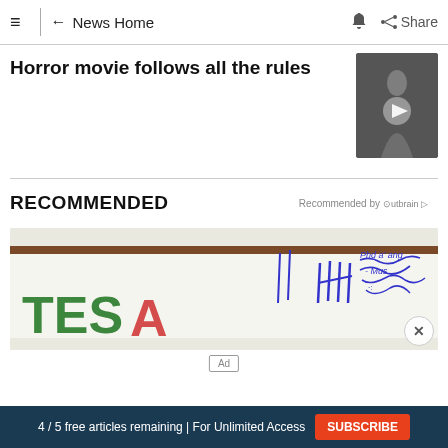≡  |  ← News Home  🔔  Share
Horror movie follows all the rules
[Figure (photo): Video thumbnail showing a woman in a white dress, with a play button overlay]
RECOMMENDED
Recommended by Outbrain
[Figure (photo): Close-up photo of a whiteboard or document with blue handwritten text and a green TES logo visible]
4 / 5 free articles remaining | For Unlimited Access  SUBSCRIBE